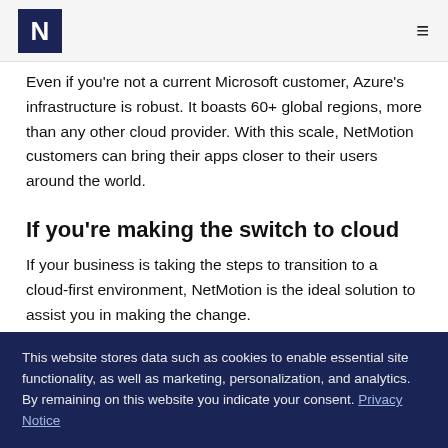N (NetMotion logo) | navigation menu
Even if you're not a current Microsoft customer, Azure's infrastructure is robust. It boasts 60+ global regions, more than any other cloud provider. With this scale, NetMotion customers can bring their apps closer to their users around the world.
If you're making the switch to cloud
If your business is taking the steps to transition to a cloud-first environment, NetMotion is the ideal solution to assist you in making the change.
Our consolidated platform allows you to easily and seamlessly transition from traditional secure remote access
This website stores data such as cookies to enable essential site functionality, as well as marketing, personalization, and analytics. By remaining on this website you indicate your consent. Privacy Notice